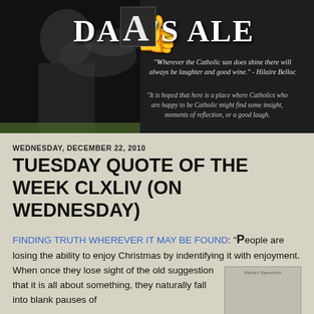[Figure (illustration): Adam's Ale blog banner: black and white photo of a clergyman on the left side with smoke/incense, dark background, decorative large A initial with ornament, blog title 'ADAM'S ALE' in large white serif font. Two italic quotes overlay the right side of the banner.]
WEDNESDAY, DECEMBER 22, 2010
TUESDAY QUOTE OF THE WEEK CLXLIV (ON WEDNESDAY)
FINDING TRUTH WHEREVER IT MAY BE FOUND: "People are losing the ability to enjoy Christmas by indentifying it with enjoyment. When once they lose sight of the old suggestion that it is all about something, they naturally fall into blank pauses of